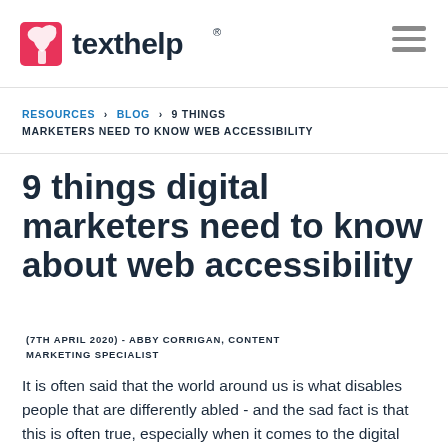texthelp
RESOURCES > BLOG > 9 THINGS MARKETERS NEED TO KNOW WEB ACCESSIBILITY
9 things digital marketers need to know about web accessibility
(7TH APRIL 2020) - ABBY CORRIGAN, CONTENT MARKETING SPECIALIST
It is often said that the world around us is what disables people that are differently abled - and the sad fact is that this is often true, especially when it comes to the digital world.